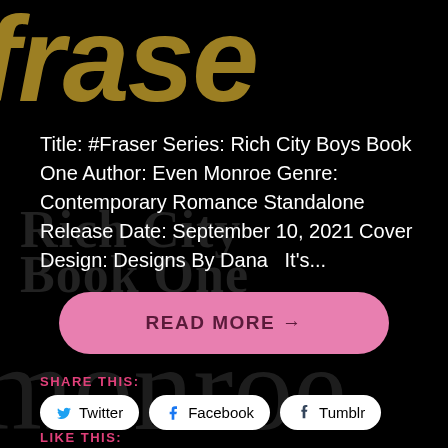[Figure (screenshot): Background book cover image with large italic gold text 'fraser' at top, faded gray 'Rich City Boys' and 'Book One' and 'monroe' watermark text on black background]
Title: #Fraser Series: Rich City Boys Book One Author: Even Monroe Genre: Contemporary Romance Standalone Release Date: September 10, 2021 Cover Design: Designs By Dana   It's...
READ MORE →
SHARE THIS:
Twitter
Facebook
Tumblr
LIKE THIS: